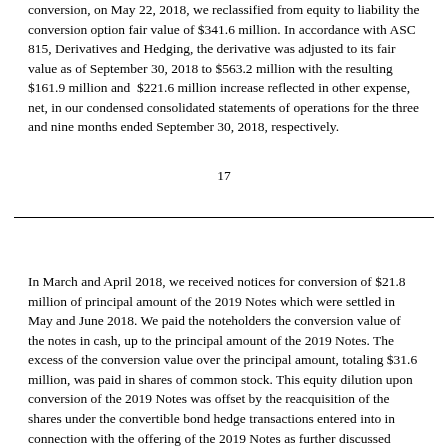conversion, on May 22, 2018, we reclassified from equity to liability the conversion option fair value of $341.6 million. In accordance with ASC 815, Derivatives and Hedging, the derivative was adjusted to its fair value as of September 30, 2018 to $563.2 million with the resulting $161.9 million and $221.6 million increase reflected in other expense, net, in our condensed consolidated statements of operations for the three and nine months ended September 30, 2018, respectively.
17
In March and April 2018, we received notices for conversion of $21.8 million of principal amount of the 2019 Notes which were settled in May and June 2018. We paid the noteholders the conversion value of the notes in cash, up to the principal amount of the 2019 Notes. The excess of the conversion value over the principal amount, totaling $31.6 million, was paid in shares of common stock. This equity dilution upon conversion of the 2019 Notes was offset by the reacquisition of the shares under the convertible bond hedge transactions entered into in connection with the offering of the 2019 Notes as further discussed below. As a result of the conversions, we recorded a $0.6